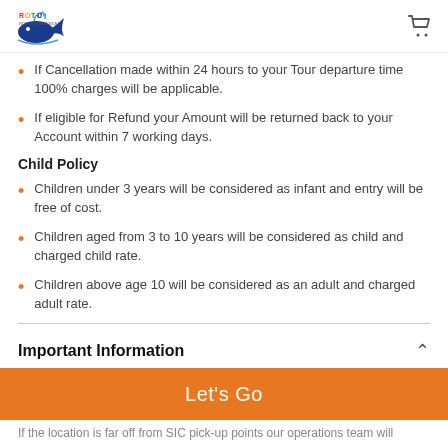Rotu [logo] | [cart icon]
If Cancellation made within 24 hours to your Tour departure time 100% charges will be applicable.
If eligible for Refund your Amount will be returned back to your Account within 7 working days.
Child Policy
Children under 3 years will be considered as infant and entry will be free of cost.
Children aged from 3 to 10 years will be considered as child and charged child rate.
Children above age 10 will be considered as an adult and charged adult rate.
Important Information
Please carry valid ID proof/Passport along with you.
Let's Go
If the location is far off from SIC pick-up points our operations team will